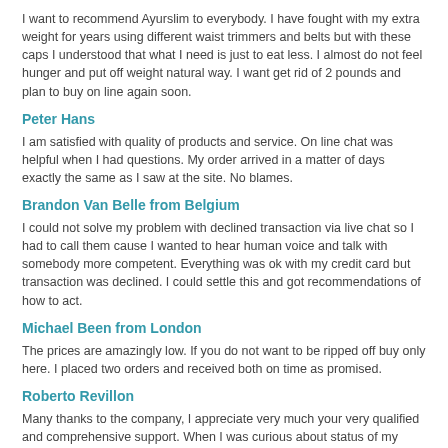I want to recommend Ayurslim to everybody. I have fought with my extra weight for years using different waist trimmers and belts but with these caps I understood that what I need is just to eat less. I almost do not feel hunger and put off weight natural way. I want get rid of 2 pounds and plan to buy on line again soon.
Peter Hans
I am satisfied with quality of products and service. On line chat was helpful when I had questions. My order arrived in a matter of days exactly the same as I saw at the site. No blames.
Brandon Van Belle from Belgium
I could not solve my problem with declined transaction via live chat so I had to call them cause I wanted to hear human voice and talk with somebody more competent. Everything was ok with my credit card but transaction was declined. I could settle this and got recommendations of how to act.
Michael Been from London
The prices are amazingly low. If you do not want to be ripped off buy only here. I placed two orders and received both on time as promised.
Roberto Revillon
Many thanks to the company, I appreciate very much your very qualified and comprehensive support. When I was curious about status of my order I was informed about process of shipment.